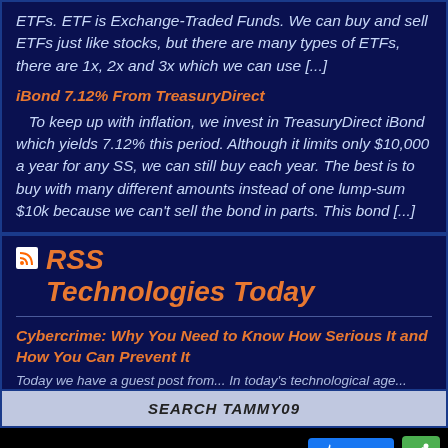ETFs. ETF is Exchange-Traded Funds. We can buy and sell ETFs just like stocks, but there are many types of ETFs, there are 1x, 2x and 3x which we can use [...]
iBond 7.12% From TreasuryDirect
To keep up with inflation, we invest in TreasuryDirect iBond which yields 7.12% this period. Although it limits only $10,000 a year for any SS, we can still buy each year. The best is to buy with many different amounts instead of one lump-sum $10k because we can't sell the bond in parts. This bond [...]
RSS Technologies Today
Cybercrime: Why You Need to Know How Serious It and How You Can Prevent It
Today we have a guest post from... In today's technological age...
SEARCH TAMMY09